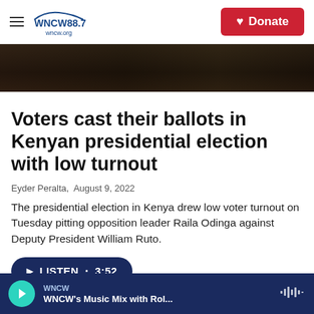WNCW 88.7 | Donate
[Figure (photo): Dark photograph of people at a polling station, cropped to show lower portion.]
Voters cast their ballots in Kenyan presidential election with low turnout
Eyder Peralta, August 9, 2022
The presidential election in Kenya drew low voter turnout on Tuesday pitting opposition leader Raila Odinga against Deputy President William Ruto.
LISTEN • 3:52
WNCW — WNCW's Music Mix with Rol...